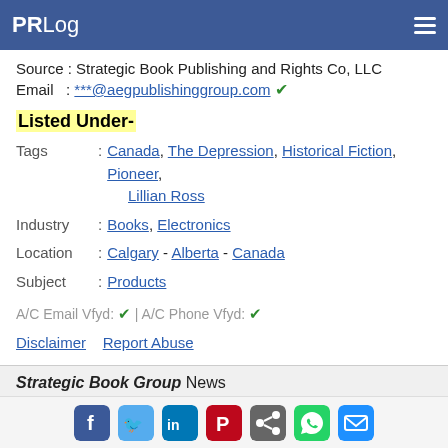PRLog
Source : Strategic Book Publishing and Rights Co, LLC
Email : ***@aegpublishinggroup.com ✔
Listed Under-
Tags : Canada, The Depression, Historical Fiction, Pioneer, Lillian Ross
Industry : Books, Electronics
Location : Calgary - Alberta - Canada
Subject : Products
A/C Email Vfyd: ✔ | A/C Phone Vfyd: ✔
Disclaimer   Report Abuse
Strategic Book Group News
"The Raven" Now Available for Kindle, Nook, iPad and other e-Readers
Social share icons: Facebook, Twitter, LinkedIn, Pinterest, Share, WhatsApp, Email